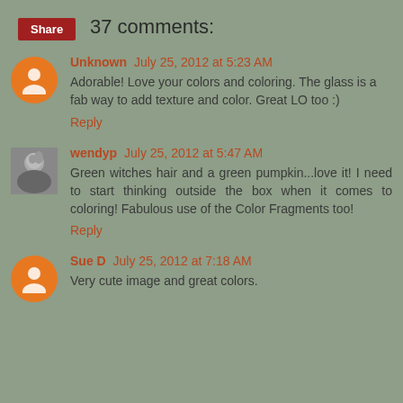[Figure (other): Share button - red rectangular button with white text 'Share']
37 comments:
Unknown July 25, 2012 at 5:23 AM
Adorable! Love your colors and coloring. The glass is a fab way to add texture and color. Great LO too :)
Reply
wendyp July 25, 2012 at 5:47 AM
Green witches hair and a green pumpkin...love it! I need to start thinking outside the box when it comes to coloring! Fabulous use of the Color Fragments too!
Reply
Sue D July 25, 2012 at 7:18 AM
Very cute image and great colors.